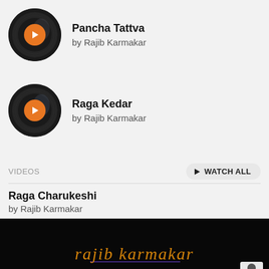[Figure (illustration): Music track card with circular vinyl/play button thumbnail and track info for Pancha Tattva]
Pancha Tattva
by Rajib Karmakar
[Figure (illustration): Music track card with circular vinyl/play button thumbnail and track info for Raga Kedar]
Raga Kedar
by Rajib Karmakar
VIDEOS
WATCH ALL
Raga Charukeshi
by Rajib Karmakar
[Figure (screenshot): Dark video thumbnail showing 'rajib karmakar' text in orange/gold stylized font on black background with a small logo in the bottom right corner]